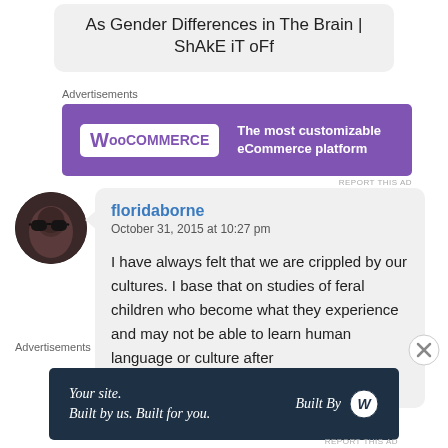As Gender Differences in The Brain | ShAkE iT oFf
Advertisements
[Figure (screenshot): WooCommerce advertisement banner: purple background with WooCommerce logo on left and tagline 'The most customizable eCommerce platform' on right]
[Figure (photo): Circular avatar photo of a person wearing large dark sunglasses, dark background]
floridaborne
October 31, 2015 at 10:27 pm

I have always felt that we are crippled by our cultures. I base that on studies of feral children who become what they experience and may not be able to learn human language or culture after
Advertisements
[Figure (screenshot): WordPress.com advertisement banner: dark navy background with italic text 'Your site. Built by us. Built for you.' and 'Built By' with WordPress logo on right]